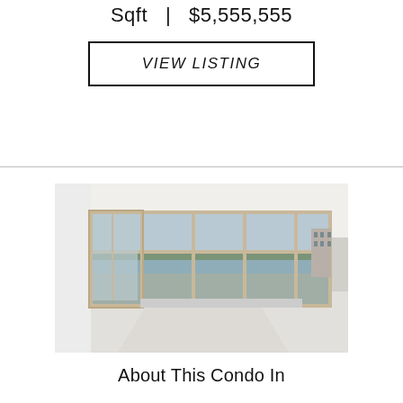Sqft  |  $5,555,555
VIEW LISTING
[Figure (photo): Interior photo of an empty condo with floor-to-ceiling windows showing a panoramic view of trees, water, and a cityscape under a cloudy sky. The room has white walls, white floors, and a curved wall of windows with metal frames.]
About This Condo In